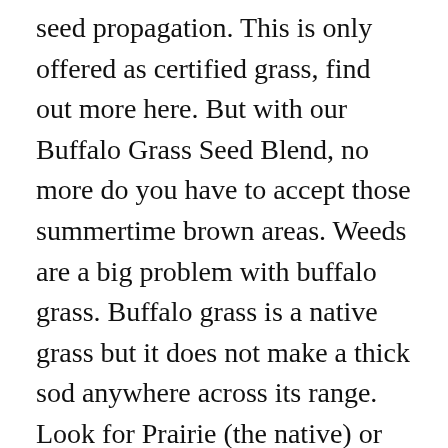seed propagation. This is only offered as certified grass, find out more here. But with our Buffalo Grass Seed Blend, no more do you have to accept those summertime brown areas. Weeds are a big problem with buffalo grass. Buffalo grass is a native grass but it does not make a thick sod anywhere across its range. Look for Prairie (the native) or "609" Buffalo grass hybrids. Additional Characteristics To Consider. The turf has a beautiful kelly green color. Drought. Establishment and Care of Buffalograss Lawns Buffalograss (Buchloë dactyloides) is the only grass native to North America that is used widely for turf. Native Grass. Advantages & Disadvantages. Buffalo 609 Buffalograss Sod. Bengaluru, Karnataka . They